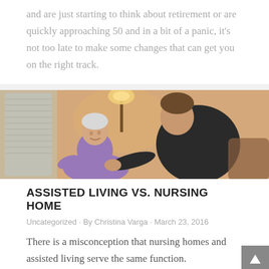and are just starting to think about retirement or are quickly approaching 50 and in a bit of a panic, it's not too late to make some changes that can get you on the right track.
[Figure (photo): An elderly woman in a purple sweater sitting and smiling, with a younger woman in a black top leaning toward her attentively, in a warmly lit home setting with a lamp in the background.]
ASSISTED LIVING VS. NURSING HOME
Uncategorized • By Christina Varga • March 23, 2016
There is a misconception that nursing homes and assisted living serve the same function.